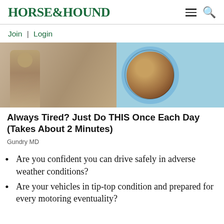HORSE&HOUND
Join | Login
[Figure (photo): Advertisement image showing a person and a circular object (tire or mattress cross-section) in blue and brown tones]
Always Tired? Just Do THIS Once Each Day (Takes About 2 Minutes)
Gundry MD
Are you confident you can drive safely in adverse weather conditions?
Are your vehicles in tip-top condition and prepared for every motoring eventuality?